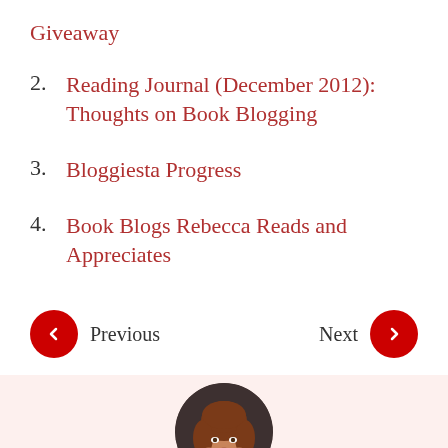Giveaway
2. Reading Journal (December 2012): Thoughts on Book Blogging
3. Bloggiesta Progress
4. Book Blogs Rebecca Reads and Appreciates
Previous  Next
[Figure (photo): Circular portrait photo of a woman with auburn hair smiling, shown from shoulders up against a dark background, displayed within a pink/blush-toned author bio box.]